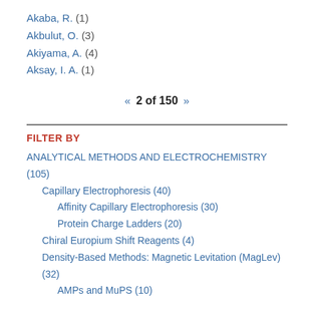Akaba, R. (1)
Akbulut, O. (3)
Akiyama, A. (4)
Aksay, I. A. (1)
« 2 of 150 »
FILTER BY
ANALYTICAL METHODS AND ELECTROCHEMISTRY (105)
Capillary Electrophoresis (40)
Affinity Capillary Electrophoresis (30)
Protein Charge Ladders (20)
Chiral Europium Shift Reagents (4)
Density-Based Methods: Magnetic Levitation (MagLev) (32)
AMPs and MuPS (10)